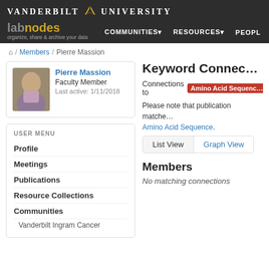VANDERBILT UNIVERSITY — labnodes — COMMUNITIES — RESOURCES — PEOPLE
Home / Members / Pierre Massion
Pierre Massion — Faculty Member — Last active: 1/11/2018
USER MENU
Profile
Meetings
Publications
Resource Collections
Communities
Vanderbilt Ingram Cancer
Keyword Connections
Connections to Amino Acid Sequence
Please note that publication matches are shown for Amino Acid Sequence.
List View   Graph View
Members
No matching connections